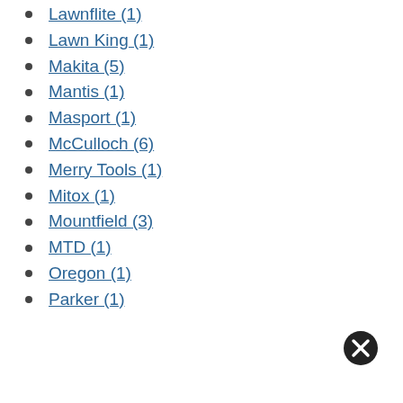Lawnflite (1)
Lawn King (1)
Makita (5)
Mantis (1)
Masport (1)
McCulloch (6)
Merry Tools (1)
Mitox (1)
Mountfield (3)
MTD (1)
Oregon (1)
Parker (1)